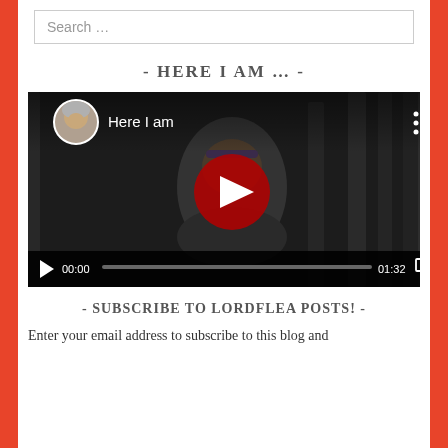Search …
- HERE I AM … -
[Figure (screenshot): YouTube video thumbnail showing a woman in a forest at dusk with a play button overlay. Title 'Here I am'. Video controls show 00:00 / 01:32.]
- SUBSCRIBE TO LORDFLEA POSTS! -
Enter your email address to subscribe to this blog and receive notifications of new posts by email.